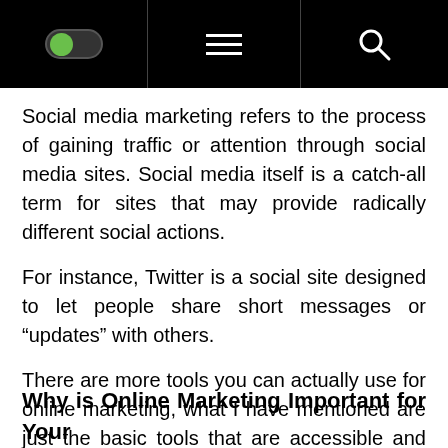[navigation bar with toggle, hamburger menu, and search icon]
Social media marketing refers to the process of gaining traffic or attention through social media sites. Social media itself is a catch-all term for sites that may provide radically different social actions.
For instance, Twitter is a social site designed to let people share short messages or “updates” with others.
There are more tools you can actually use for online marketing, what I have mentioned are just the basic tools that are accessible and easy to learn. Basically, at Prive.eu they have a lot of options and suggestions which might help you with your online m
Why is Online Marketing Important for Your